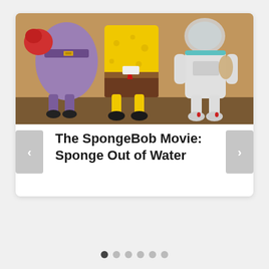[Figure (screenshot): A movie slider card showing SpongeBob, Mr. Krabs, and Sandy as 3D animated toy-like figures from The SpongeBob Movie: Sponge Out of Water. Navigation arrows (< >) are visible on the left and right sides of the title area. Six pagination dots appear below the card.]
The SpongeBob Movie: Sponge Out of Water